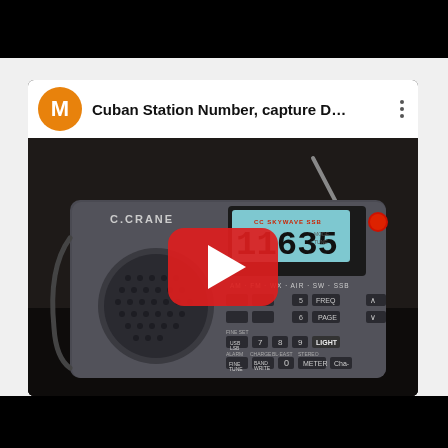[Figure (screenshot): YouTube video thumbnail showing a C.Crane CC Skywave SSB portable radio displaying frequency 11635. The video title reads 'Cuban Station Number, capture D...' with a channel icon showing letter M in orange circle. A red YouTube play button is overlaid on the radio image. The page has black bars at top and bottom typical of a mobile YouTube interface screenshot.]